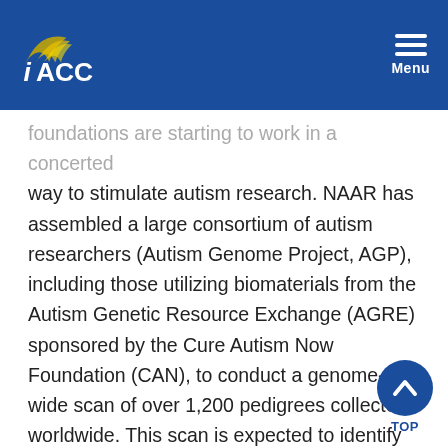IACC Menu
foundations are starting to work in a concerted way to stimulate autism research. NAAR has assembled a large consortium of autism researchers (Autism Genome Project, AGP), including those utilizing biomaterials from the Autism Genetic Resource Exchange (AGRE) sponsored by the Cure Autism Now Foundation (CAN), to conduct a genome-wide scan of over 1,200 pedigrees collected worldwide. This scan is expected to identify several candidate genomic regions containing vulnerability genes. Identification of these genomic regions will be a critical first step in